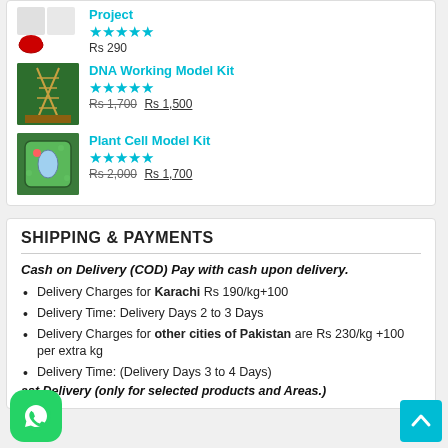Project ★★★★★ Rs 290
DNA Working Model Kit ★★★★★ Rs 1,700 Rs 1,500
Plant Cell Model Kit ★★★★★ Rs 2,000 Rs 1,700
SHIPPING & PAYMENTS
Cash on Delivery (COD) Pay with cash upon delivery.
Delivery Charges for Karachi Rs 190/kg+100
Delivery Time: Delivery Days 2 to 3 Days
Delivery Charges for other cities of Pakistan are Rs 230/kg +100 per extra kg
Delivery Time: (Delivery Days 3 to 4 Days)
ast Delivery (only for selected products and Areas.)
[Figure (logo): WhatsApp button (green rounded square with WhatsApp icon)]
[Figure (other): Scroll-to-top button (cyan square with upward arrow)]